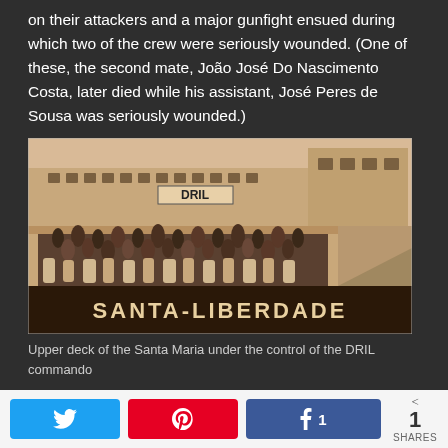on their attackers and a major gunfight ensued during which two of the crew were seriously wounded. (One of these, the second mate, João José Do Nascimento Costa, later died while his assistant, José Peres de Sousa was seriously wounded.)
[Figure (photo): Black and white sepia photograph of the upper deck of the Santa Maria ship with a large crowd gathered on deck. The ship has a banner reading 'DRIL' on the upper level and 'SANTA-LIBERDADE' visible on the hull.]
Upper deck of the Santa Maria under the control of the DRIL commando